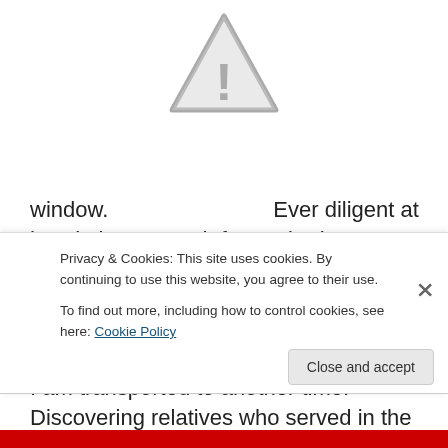[Figure (illustration): Gray warning triangle icon with exclamation mark]
window.   Ever diligent at her duties to watch for squirrels, our spoiled-rotten dog stays right by my side while I dig for more ancestors. And dig I do. When I start burrowing in my messy nest and the computer captures my days, I am transported to another time. Discovering relatives who served in the Civil or Revolutionary Wars, I try to imagine how their life must
Privacy & Cookies: This site uses cookies. By continuing to use this website, you agree to their use.
To find out more, including how to control cookies, see here: Cookie Policy
Close and accept